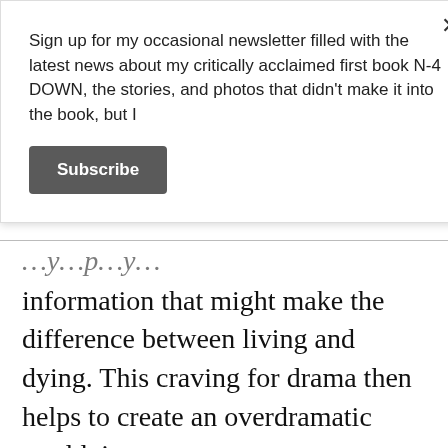Sign up for my occasional newsletter filled with the latest news about my critically acclaimed first book N-4 DOWN, the stories, and photos that didn't make it into the book, but I
Subscribe
information that might make the difference between living and dying. This craving for drama then helps to create an overdramatic worldview.
He maintains we are in a systematic state of ignorance about how much technology is making our lives better because selective reporting